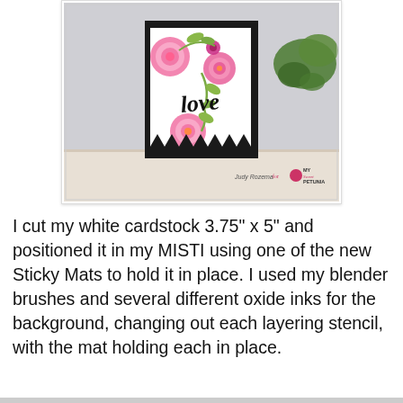[Figure (photo): A handmade greeting card with pink floral stencil design, green leaves, black 'love' script, and black-and-white triangle border at the bottom, displayed on a white surface. Watermark: Judy Rozema for My Sweet Petunia.]
I cut my white cardstock 3.75" x 5" and positioned it in my MISTI using one of the new Sticky Mats to hold it in place. I used my blender brushes and several different oxide inks for the background, changing out each layering stencil, with the mat holding each in place.